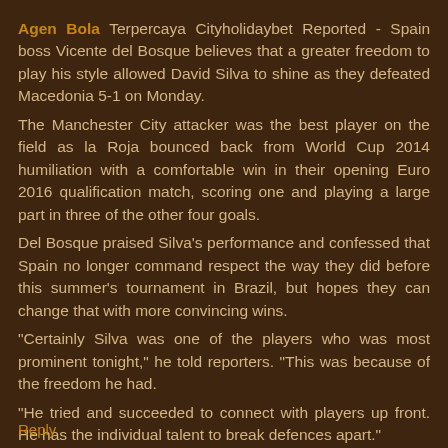Agen Bola Terpercaya Cityholidaybet Reported - Spain boss Vicente del Bosque believes that a greater freedom to play his style allowed David Silva to shine as they defeated Macedonia 5-1 on Monday. The Manchester City attacker was the best player on the field as la Roja bounced back from World Cup 2014 humiliation with a comfortable win in their opening Euro 2016 qualification match, scoring one and playing a large part in three of the other four goals. Del Bosque praised Silva's performance and confessed that Spain no longer command respect the way they did before this summer's tournament in Brazil, but hopes they can change that with more convincing wins. "Certainly Silva was one of the players who was most prominent tonight," he told reporters. "This was because of the freedom he had. "He tried and succeeded to connect with players up front. He has the individual talent to break defences apart."
Reply